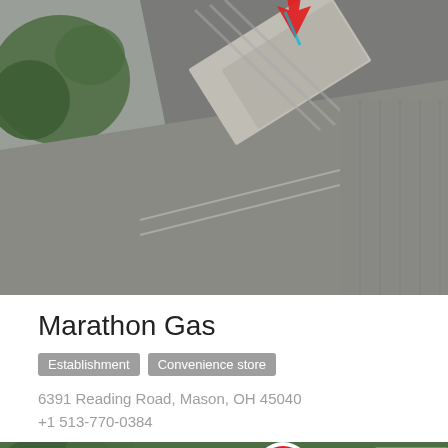[Figure (map): Aerial satellite map view showing a location marked with a red arrow/pin marker over a commercial area with roads and parking lots]
Marathon Gas
Establishment  Convenience store
6391 Reading Road, Mason, OH 45040
+1 513-770-0384
[Figure (map): Aerial satellite map view showing a location marked with a red number 9 / circular pin marker over a large building with parking lots, surrounded by green areas]